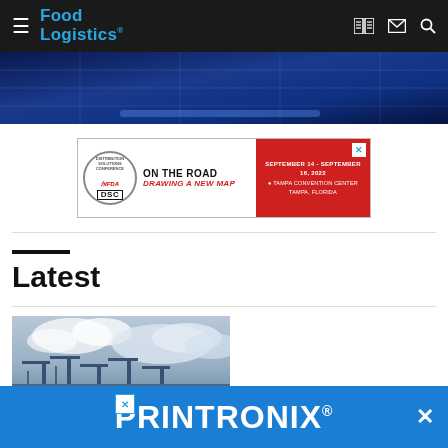Food Logistics
[Figure (photo): Hero banner with blue-tinted architectural/ceiling photo]
[Figure (other): IFDA DSC advertisement: ON THE ROAD DRAWING A NEW MAP, September 14-16, 2022, Tampa Convention Center, Tampa, Florida]
Latest
[Figure (photo): Port/shipping terminal photo with cranes and overcast sky]
[Figure (other): PRINTRONIX advertisement banner at bottom of page]